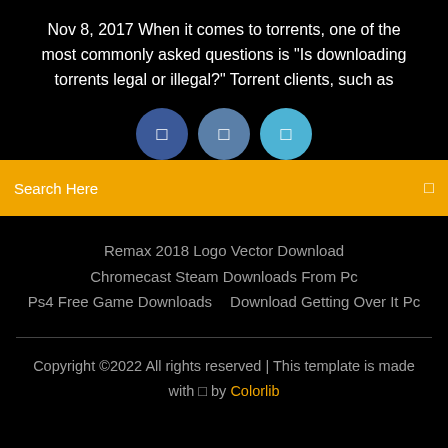Nov 8, 2017 When it comes to torrents, one of the most commonly asked questions is "Is downloading torrents legal or illegal?" Torrent clients, such as
[Figure (infographic): Three social media icons (Facebook, Twitter, YouTube) displayed as circles with share/link icons inside]
Search Here
Remax 2018 Logo Vector Download
Chromecast Steam Downloads From Pc
Ps4 Free Game Downloads    Download Getting Over It Pc
Copyright ©2022 All rights reserved | This template is made with ♥ by Colorlib